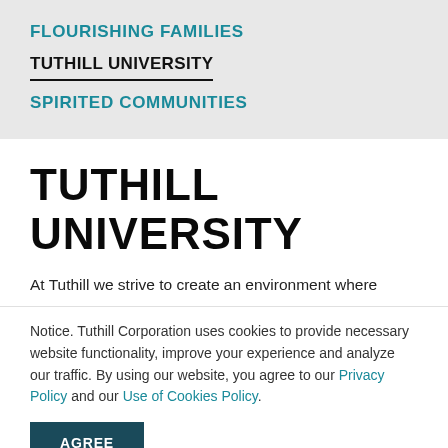FLOURISHING FAMILIES
TUTHILL UNIVERSITY
SPIRITED COMMUNITIES
TUTHILL UNIVERSITY
At Tuthill we strive to create an environment where
Notice. Tuthill Corporation uses cookies to provide necessary website functionality, improve your experience and analyze our traffic. By using our website, you agree to our Privacy Policy and our Use of Cookies Policy.
AGREE